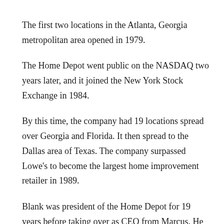The first two locations in the Atlanta, Georgia metropolitan area opened in 1979.
The Home Depot went public on the NASDAQ two years later, and it joined the New York Stock Exchange in 1984.
By this time, the company had 19 locations spread over Georgia and Florida. It then spread to the Dallas area of Texas. The company surpassed Lowe's to become the largest home improvement retailer in 1989.
Blank was president of the Home Depot for 19 years before taking over as CEO from Marcus. He stepped down as co-chairman of the corporation in 2001.
What is Arthur Blank Net worth?